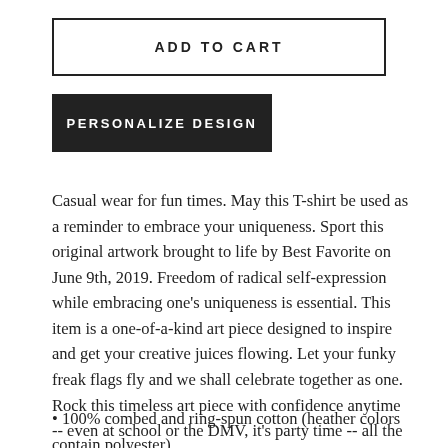ADD TO CART
PERSONALIZE DESIGN
Casual wear for fun times. May this T-shirt be used as a reminder to embrace your uniqueness. Sport this original artwork brought to life by Best Favorite on June 9th, 2019. Freedom of radical self-expression while embracing one's uniqueness is essential. This item is a one-of-a-kind art piece designed to inspire and get your creative juices flowing. Let your funky freak flags fly and we shall celebrate together as one. Rock this timeless art piece with confidence anytime -- even at school or the DMV, it's party time -- all the time!
• 100% combed and ring-spun cotton (heather colors contain polyester)